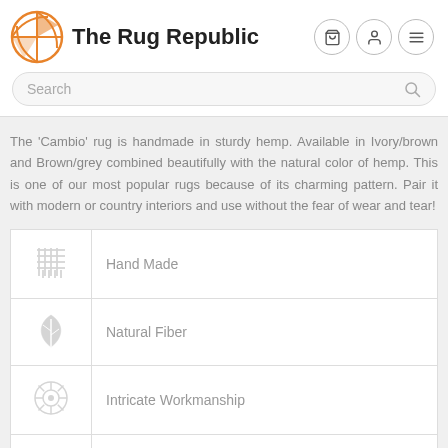The Rug Republic
Search
The 'Cambio' rug is handmade in sturdy hemp. Available in Ivory/brown and Brown/grey combined beautifully with the natural color of hemp. This is one of our most popular rugs because of its charming pattern. Pair it with modern or country interiors and use without the fear of wear and tear!
| Icon | Feature |
| --- | --- |
| [hand made icon] | Hand Made |
| [natural fiber icon] | Natural Fiber |
| [intricate workmanship icon] | Intricate Workmanship |
| [customizable icon] | Customizable A-D |